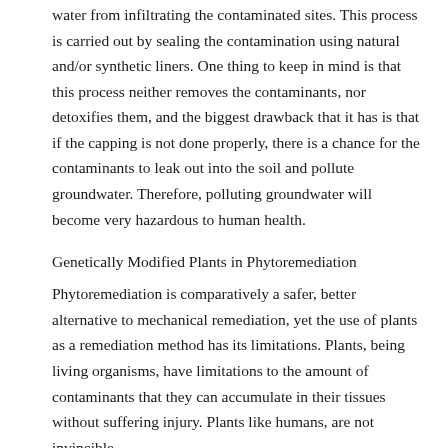water from infiltrating the contaminated sites. This process is carried out by sealing the contamination using natural and/or synthetic liners. One thing to keep in mind is that this process neither removes the contaminants, nor detoxifies them, and the biggest drawback that it has is that if the capping is not done properly, there is a chance for the contaminants to leak out into the soil and pollute groundwater. Therefore, polluting groundwater will become very hazardous to human health.
Genetically Modified Plants in Phytoremediation
Phytoremediation is comparatively a safer, better alternative to mechanical remediation, yet the use of plants as a remediation method has its limitations. Plants, being living organisms, have limitations to the amount of contaminants that they can accumulate in their tissues without suffering injury. Plants like humans, are not invincible. Another drawback to phytoremediation is that it is often a slower method compared to physicochemical processes and may need to be considered as a long term remediation process (Cunningham, Berti & Huang, 1995). Not only are...